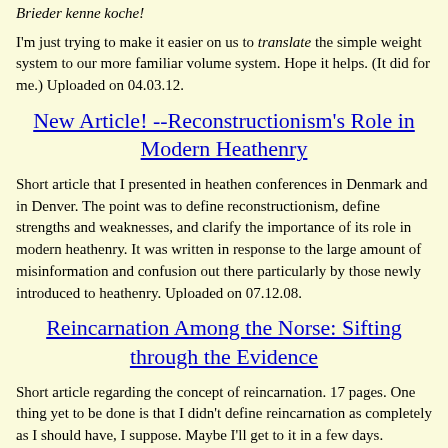Brieder kenne koche!
I'm just trying to make it easier on us to translate the simple weight system to our more familiar volume system. Hope it helps. (It did for me.) Uploaded on 04.03.12.
New Article! --Reconstructionism's Role in Modern Heathenry
Short article that I presented in heathen conferences in Denmark and in Denver. The point was to define reconstructionism, define strengths and weaknesses, and clarify the importance of its role in modern heathenry. It was written in response to the large amount of misinformation and confusion out there particularly by those newly introduced to heathenry. Uploaded on 07.12.08.
Reincarnation Among the Norse: Sifting through the Evidence
Short article regarding the concept of reincarnation. 17 pages. One thing yet to be done is that I didn't define reincarnation as completely as I should have, I suppose. Maybe I'll get to it in a few days. Uploaded on 02.12.06.